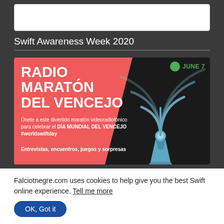[Figure (screenshot): Top white rectangular area, partial screenshot of a webpage header]
Swift Awareness Week 2020
[Figure (illustration): Radio Maratón del Vencejo promotional banner. Red and black background with radio tower graphic. Text: RADIO MARATÓN DEL VENCEJO. Únete a este divertido maratón videoradiofónico para celebrar el DÍA MUNDIAL DEL VENCEJO #worldswiftday. Entrevistas, encuentros, juegos y sorpresas. JUNE 7 badge in green top right.]
Falciotnegre.com uses cookies to help give you the best Swift online experience. Tell me more
OK, Got it